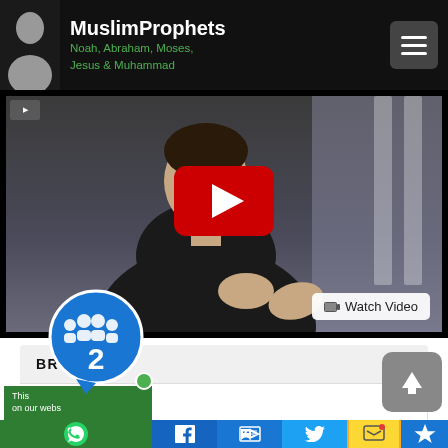MuslimProphets — Noah, Abraham, Moses, Jesus & Muhammad
[Figure (screenshot): YouTube video thumbnail showing a man in a black shirt speaking, with a YouTube play button overlay and a 'Watch Video' button]
BROWSE
Scriptures
res are Revealed Text considered to be
[Figure (screenshot): Social share bar with WhatsApp, Facebook, Like, Twitter, SMS, and Crown icons; notification bubble showing '2'; scroll-to-top button]